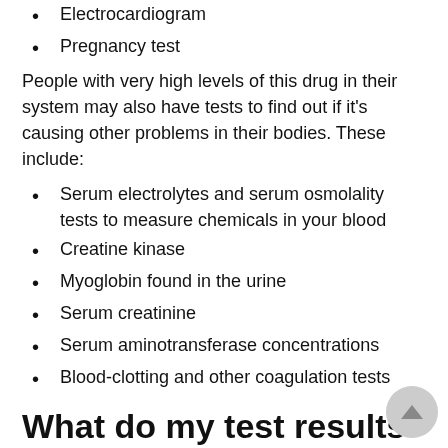Electrocardiogram
Pregnancy test
People with very high levels of this drug in their system may also have tests to find out if it's causing other problems in their bodies. These include:
Serum electrolytes and serum osmolality tests to measure chemicals in your blood
Creatine kinase
Myoglobin found in the urine
Serum creatinine
Serum aminotransferase concentrations
Blood-clotting and other coagulation tests
What do my test results mean?
Test results may vary depending on your age, gender,